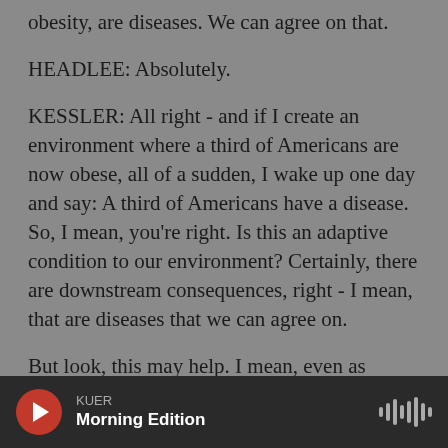obesity, are diseases. We can agree on that.
HEADLEE: Absolutely.
KESSLER: All right - and if I create an environment where a third of Americans are now obese, all of a sudden, I wake up one day and say: A third of Americans have a disease. So, I mean, you're right. Is this an adaptive condition to our environment? Certainly, there are downstream consequences, right - I mean, that are diseases that we can agree on.
But look, this may help. I mean, even as physicians, I don't think we really understand the...
KUER Morning Edition